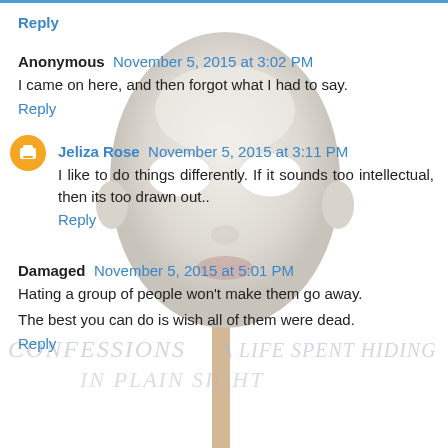[Figure (illustration): A white featureless face mask on a stick, centered on the page as a background image overlaying comment section content.]
Reply
Anonymous  November 5, 2015 at 3:02 PM
I came on here, and then forgot what I had to say.
Reply
Jeliza Rose  November 5, 2015 at 3:11 PM
I like to do things differently. If it sounds too intellectual, then its too drawn out..
Reply
Damaged  November 5, 2015 at 5:01 PM
Hating a group of people won't make them go away.
The best you can do is wish all of them were dead.
Reply
[Figure (illustration): Faint watermark text reading 'CONFESSIONS  A LIFE SPENT HIDING' and below 'IN PLAIN SIGHT' in handwritten style.]